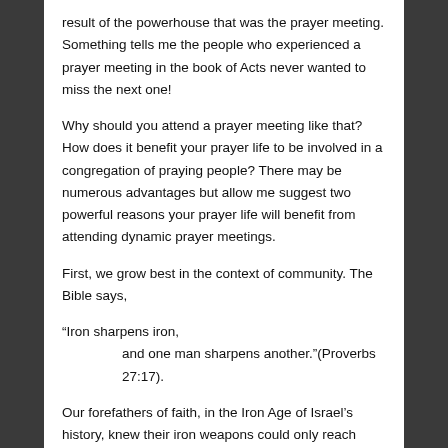result of the powerhouse that was the prayer meeting. Something tells me the people who experienced a prayer meeting in the book of Acts never wanted to miss the next one!
Why should you attend a prayer meeting like that? How does it benefit your prayer life to be involved in a congregation of praying people? There may be numerous advantages but allow me suggest two powerful reasons your prayer life will benefit from attending dynamic prayer meetings.
First, we grow best in the context of community. The Bible says,
“Iron sharpens iron,
and one man sharpens another.”(Proverbs 27:17).
Our forefathers of faith, in the Iron Age of Israel’s history, knew their iron weapons could only reach maximum